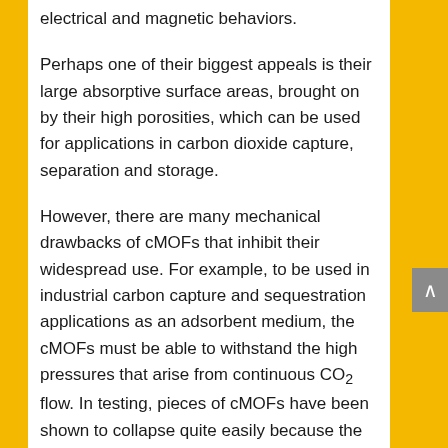electrical and magnetic behaviors.
Perhaps one of their biggest appeals is their large absorptive surface areas, brought on by their high porosities, which can be used for applications in carbon dioxide capture, separation and storage.
However, there are many mechanical drawbacks of cMOFs that inhibit their widespread use. For example, to be used in industrial carbon capture and sequestration applications as an adsorbent medium, the cMOFs must be able to withstand the high pressures that arise from continuous CO₂ flow. In testing, pieces of cMOFs have been shown to collapse quite easily because the highly porous structure makes the cMOF very delicate and